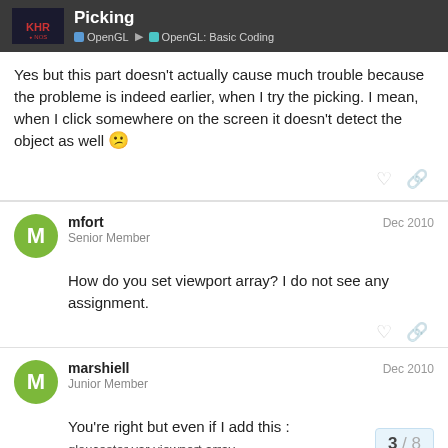Picking | OpenGL | OpenGL: Basic Coding
Yes but this part doesn't actually cause much trouble because the probleme is indeed earlier, when I try the picking. I mean, when I click somewhere on the screen it doesn't detect the object as well 😕
mfort — Senior Member — Dec 2010
How do you set viewport array? I do not see any assignment.
marshiell — Junior Member — Dec 2010
You're right but even if I add this :
3 / 8